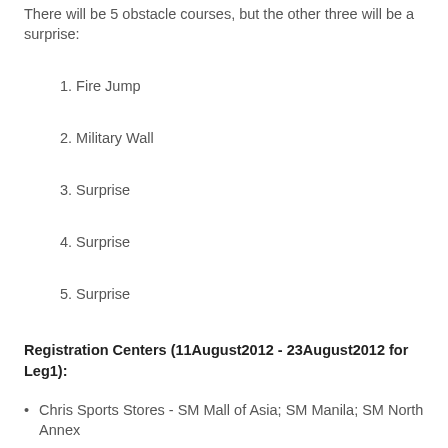There will be 5 obstacle courses, but the other three will be a surprise:
1. Fire Jump
2. Military Wall
3. Surprise
4. Surprise
5. Surprise
Registration Centers (11August2012 - 23August2012 for Leg1):
Chris Sports Stores - SM Mall of Asia; SM Manila; SM North Annex